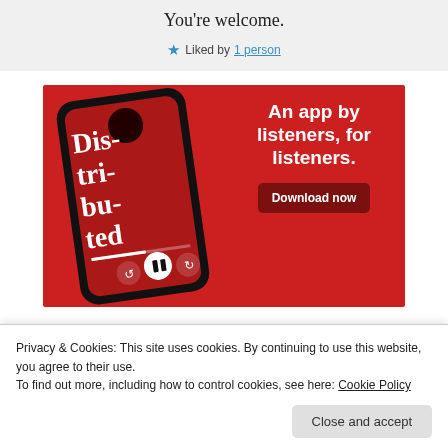You're welcome.
★ Liked by 1 person
[Figure (illustration): Red advertisement banner for a podcast app showing a smartphone with 'Dis-tri-bu-ted' podcast displayed, with text 'An app by listeners, for listeners.' and a 'Download now' button on a red background.]
Privacy & Cookies: This site uses cookies. By continuing to use this website, you agree to their use.
To find out more, including how to control cookies, see here: Cookie Policy
Close and accept